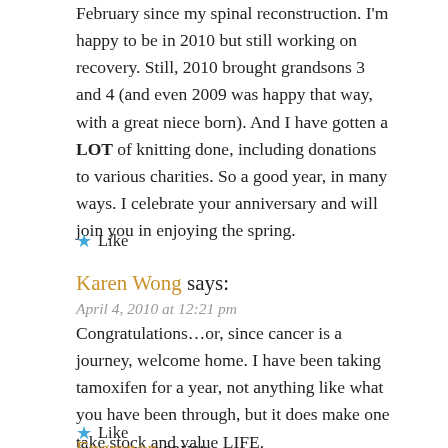February since my spinal reconstruction. I'm happy to be in 2010 but still working on recovery. Still, 2010 brought grandsons 3 and 4 (and even 2009 was happy that way, with a great niece born). And I have gotten a LOT of knitting done, including donations to various charities. So a good year, in many ways. I celebrate your anniversary and will join you in enjoying the spring.
★ Like
Karen Wong says:
April 4, 2010 at 12:21 pm
Congratulations…or, since cancer is a journey, welcome home. I have been taking tamoxifen for a year, not anything like what you have been through, but it does make one take stock and value LIFE.
★ Like
Engranon says: